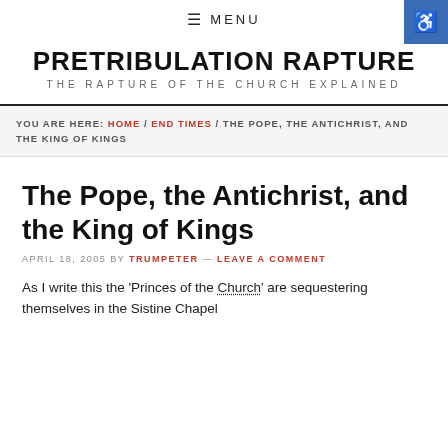≡ MENU
PRETRIBULATION RAPTURE
THE RAPTURE OF THE CHURCH EXPLAINED
YOU ARE HERE: HOME / END TIMES / THE POPE, THE ANTICHRIST, AND THE KING OF KINGS
The Pope, the Antichrist, and the King of Kings
APRIL 18, 2005 BY TRUMPETER — LEAVE A COMMENT
As I write this the 'Princes of the Church' are sequestering themselves in the Sistine Chapel